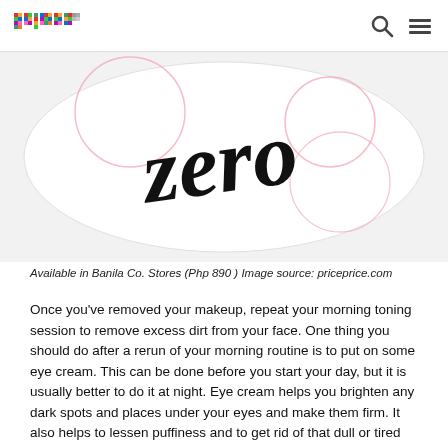primer
[Figure (photo): Close-up of a white cylindrical beauty product container with black cursive script reading 'zero' and pink circle decorations on the label.]
Available in Banila Co. Stores (Php 890 ) Image source: priceprice.com
Once you've removed your makeup, repeat your morning toning session to remove excess dirt from your face. One thing you should do after a rerun of your morning routine is to put on some eye cream. This can be done before you start your day, but it is usually better to do it at night. Eye cream helps you brighten any dark spots and places under your eyes and make them firm. It also helps to lessen puffiness and to get rid of that dull or tired look.